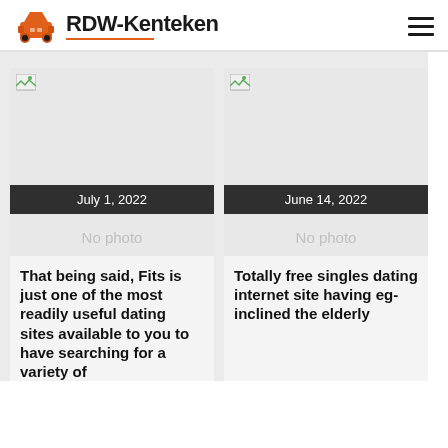RDW-Kenteken
[Figure (screenshot): Card with 'No photo' placeholder image dated July 1, 2022]
That being said, Fits is just one of the most readily useful dating sites available to you to have searching for a variety of
[Figure (screenshot): Card with 'No photo' placeholder image dated June 14, 2022]
Totally free singles dating internet site having eg-inclined the elderly